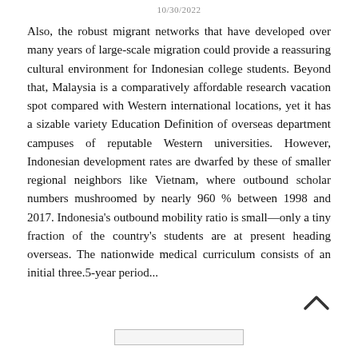10/30/2022
Also, the robust migrant networks that have developed over many years of large-scale migration could provide a reassuring cultural environment for Indonesian college students. Beyond that, Malaysia is a comparatively affordable research vacation spot compared with Western international locations, yet it has a sizable variety Education Definition of overseas department campuses of reputable Western universities. However, Indonesian development rates are dwarfed by these of smaller regional neighbors like Vietnam, where outbound scholar numbers mushroomed by nearly 960 % between 1998 and 2017. Indonesia's outbound mobility ratio is small—only a tiny fraction of the country's students are at present heading overseas. The nationwide medical curriculum consists of an initial three.5-year period...